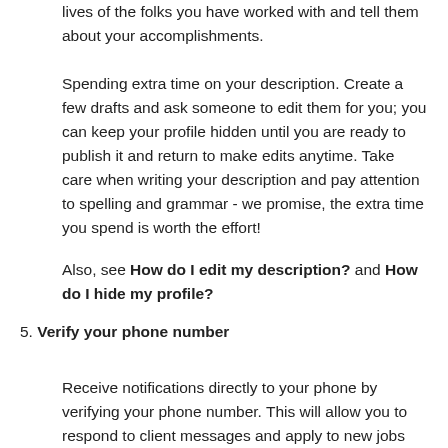lives of the folks you have worked with and tell them about your accomplishments.
Spending extra time on your description. Create a few drafts and ask someone to edit them for you; you can keep your profile hidden until you are ready to publish it and return to make edits anytime. Take care when writing your description and pay attention to spelling and grammar - we promise, the extra time you spend is worth the effort!
Also, see How do I edit my description? and How do I hide my profile?
5. Verify your phone number
Receive notifications directly to your phone by verifying your phone number. This will allow you to respond to client messages and apply to new jobs